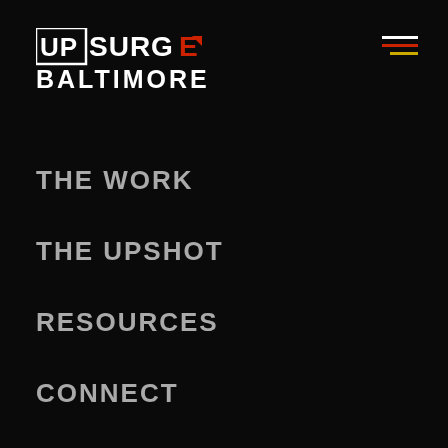[Figure (logo): Upsurge Baltimore logo — white outlined UP text combined with SURGE in bold white, red arrow icon, BALTIMORE in large white caps below]
[Figure (infographic): Hamburger menu icon with three horizontal lines: white, red, and yellow/gold]
THE WORK
THE UPSHOT
RESOURCES
CONNECT